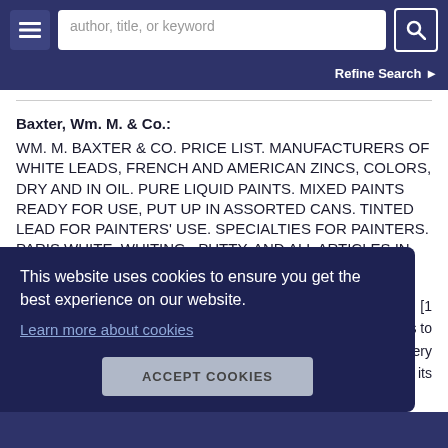author, title, or keyword | Refine Search
Baxter, Wm. M. & Co.:
WM. M. BAXTER & CO. PRICE LIST. MANUFACTURERS OF WHITE LEADS, FRENCH AND AMERICAN ZINCS, COLORS, DRY AND IN OIL. PURE LIQUID PAINTS. MIXED PAINTS READY FOR USE, PUT UP IN ASSORTED CANS. TINTED LEAD FOR PAINTERS' USE. SPECIALTIES FOR PAINTERS. PARIS WHITE, WHITING , PUTTY, AND ALL ARTICLES IN
[1 ps to Very of its
This website uses cookies to ensure you get the best experience on our website.
Learn more about cookies
ACCEPT COOKIES